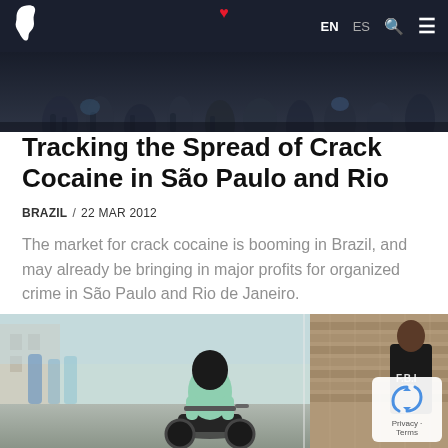Navigation bar with logo, EN ES language toggle, search and menu icons
[Figure (photo): Dark photo strip showing a crowd of people at street level, dimly lit, blurred]
Tracking the Spread of Crack Cocaine in São Paulo and Rio
BRAZIL / 22 MAR 2012
The market for crack cocaine is booming in Brazil, and may already be bringing in major profits for organized crime in São Paulo and Rio de Janeiro.
[Figure (photo): Street scene in a favela: a person in a green shirt rides a motorcycle, helmet on; on the right, a person in a black shirt with 'FBI' text stands near a brick wall]